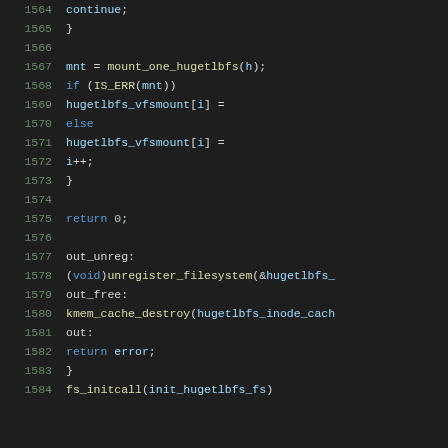Source code listing lines 1564-1584, C kernel code for hugetlbfs filesystem initialization